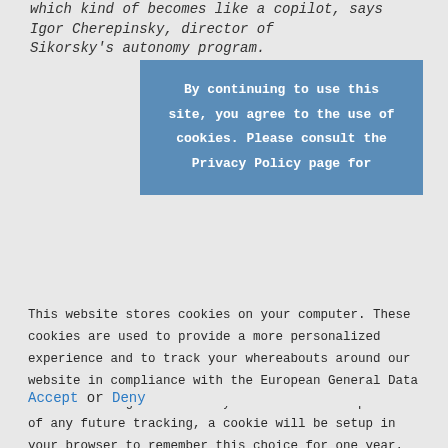which kind of becomes like a copilot, says Igor Cherepinsky, director of Sikorsky's autonomy program.
By continuing to use this site, you agree to the use of cookies. Please consult the Privacy Policy page for
This website stores cookies on your computer. These cookies are used to provide a more personalized experience and to track your whereabouts around our website in compliance with the European General Data Protection Regulation. If you decide to to opt-out of any future tracking, a cookie will be setup in your browser to remember this choice for one year.
Accept or Deny